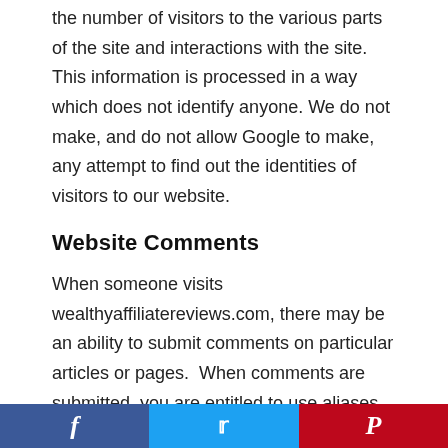the number of visitors to the various parts of the site and interactions with the site. This information is processed in a way which does not identify anyone. We do not make, and do not allow Google to make, any attempt to find out the identities of visitors to our website.
Website Comments
When someone visits wealthyaffiliatereviews.com, there may be an ability to submit comments on particular articles or pages.  When comments are submitted, you are entitled to use aliases or information that completely hides your identity. When a comment is submitted, the relevant details (name, email, website) that you provide are stored.  These details are stored so that we can display your comment back to you, and to anyone